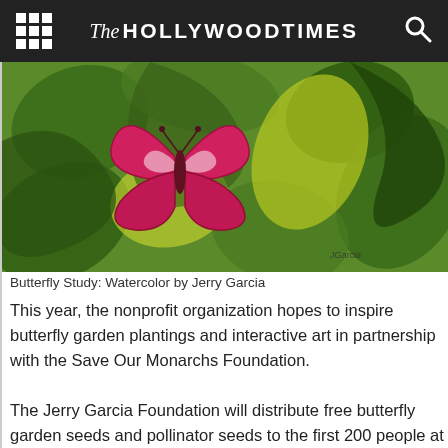The Hollywood Times
[Figure (illustration): Watercolor painting of a pink/red butterfly on green foliage background, signed by Jerry Garcia]
Butterfly Study: Watercolor by Jerry Garcia
This year, the nonprofit organization hopes to inspire butterfly garden plantings and interactive art in partnership with the Save Our Monarchs Foundation.
The Jerry Garcia Foundation will distribute free butterfly garden seeds and pollinator seeds to the first 200 people at each concert who visit their tent